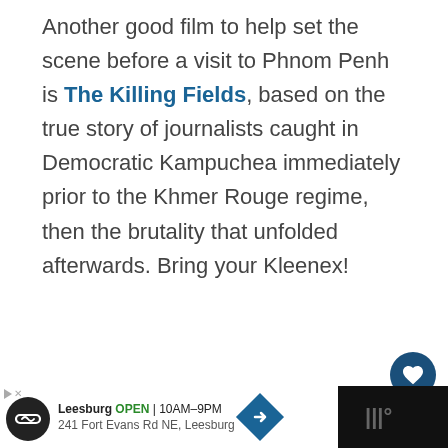Another good film to help set the scene before a visit to Phnom Penh is The Killing Fields, based on the true story of journalists caught in Democratic Kampuchea immediately prior to the Khmer Rouge regime, then the brutality that unfolded afterwards.  Bring your Kleenex!
Related Reading: Surprising Facts about Cambodia
WHAT'S NEXT → 5 Tips for Exploring...